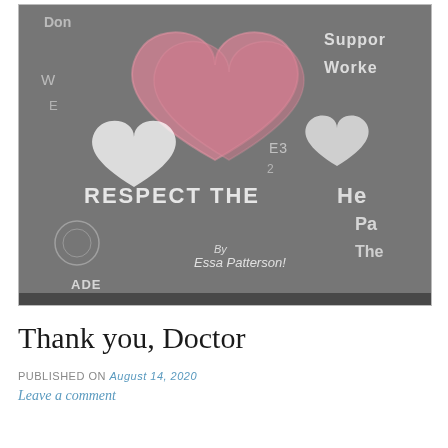[Figure (photo): Photograph of a chalkboard/pavement surface covered in chalk drawings and writing. A large pink heart is drawn in the center-top area. White chalk text reads 'RESPECT THE HEAL' (partially visible), 'By Essa Patterson!', 'ADE', 'Support Worker' (partially visible), and various other chalk doodles including smaller white hearts, swirls, and numbers/letters.]
Thank you, Doctor
PUBLISHED ON August 14, 2020
Leave a comment